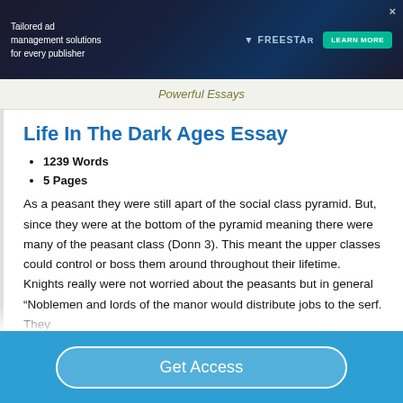[Figure (other): Advertisement banner: Tailored ad management solutions for every publisher. Freestar logo with Learn More button.]
Powerful Essays
Life In The Dark Ages Essay
1239 Words
5 Pages
As a peasant they were still apart of the social class pyramid. But, since they were at the bottom of the pyramid meaning there were many of the peasant class (Donn 3). This meant the upper classes could control or boss them around throughout their lifetime. Knights really were not worried about the peasants but in general “Noblemen and lords of the manor would distribute jobs to the serf. They
Get Access